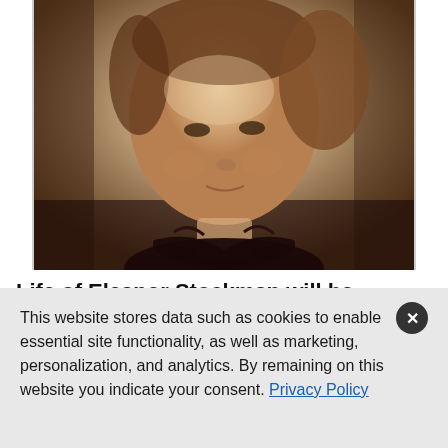[Figure (photo): Sepia-toned historical portrait photograph of Eleanor Stockman, a young woman with hair pulled back, wearing a dark ruffled collar, from the late 19th century.]
Life of Eleanor Stockman will be revisited at upcoming RCSHP program
This website stores data such as cookies to enable essential site functionality, as well as marketing, personalization, and analytics. By remaining on this website you indicate your consent. Privacy Policy